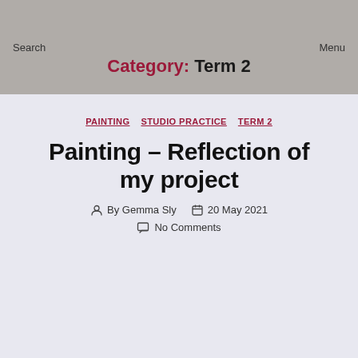Search   Menu
Category: Term 2
PAINTING   STUDIO PRACTICE   TERM 2
Painting – Reflection of my project
By Gemma Sly   20 May 2021   No Comments
I began my project focusing on Leicester as at the time of the start of this project I had been on still